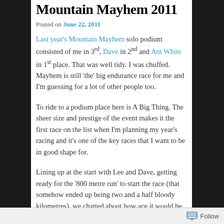Mountain Mayhem 2011
Posted on June 22, 2011
Last year's Mountain Mayhem solo podium consisted of me in 3rd, Dave in 2nd and Ant White in 1st place. That was well tidy. I was chuffed. Mayhem is still 'the' big endurance race for me and I'm guessing for a lot of other people too.
To ride to a podium place here is A Big Thing. The sheer size and prestige of the event makes it the first race on the list when I'm planning my year's racing and it's one of the key races that I want to be in good shape for.
Lining up at the start with Lee and Dave, getting ready for the '800 metre run' to start the race (that somehow ended up being two and a half bloody kilometres), we chatted about how ace it would be to repeat last year's performance…to arrive on the podium again, in any position… 'That'd do', we agreed.
Follow